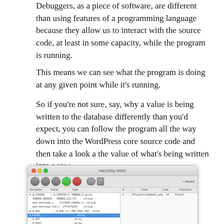Debuggers, as a piece of software, are different than using features of a programming language because they allow us to interact with the source code, at least in some capacity, while the program is running.
This means we can see what the program is doing at any given point while it's running.
So if you're not sure, say, why a value is being written to the database differently than you'd expect, you can follow the program all the way down into the WordPress core source code and then take a look a the value of what's being written into a row.
[Figure (screenshot): A MacGDBp PHP debugger window showing a variable inspection panel on the left with variables like $_COOKIE, $_SESSION, $_REQUEST, $_SERVER listed, and a stack trace panel on the right showing file path and line number. A row for $_FILES is highlighted in blue.]